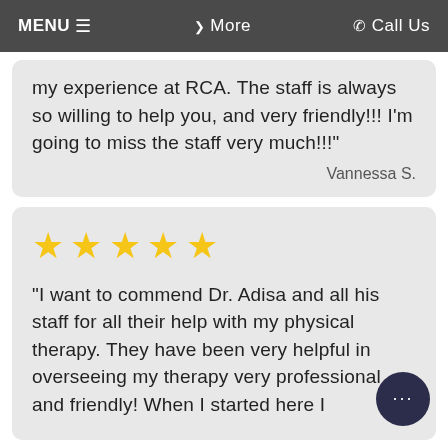MENU ☰   ❯ More   ✆ Call Us
my experience at RCA. The staff is always so willing to help you, and very friendly!!! I'm going to miss the staff very much!!!"
Vannessa S.
[Figure (other): Five yellow star rating icons]
"I want to commend Dr. Adisa and all his staff for all their help with my physical therapy. They have been very helpful in overseeing my therapy very professional and friendly! When I started here I